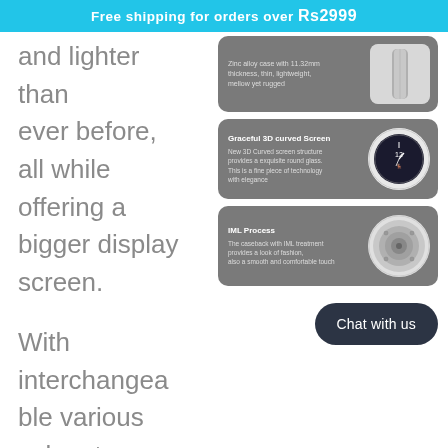Free shipping for orders over Rs2999
and lighter than ever before, all while offering a bigger display screen.
[Figure (illustration): Feature card with image of smartwatch band/case: Zinc alloy case with 11.32mm thickness, thin, lightweight, mellow yet rugged.]
[Figure (illustration): Feature card: Graceful 3D curved Screen. New 3D Curved screen structure provides a exquisite round glass. This is a fine piece of technology with elegance. Image shows a round smartwatch face.]
[Figure (illustration): Feature card: IML Process. The caseback with IML treatment provides a look of fashion, also a smooth and comfortable touch. Image shows a smartwatch caseback.]
With interchangeable various color straps,
Chat with us